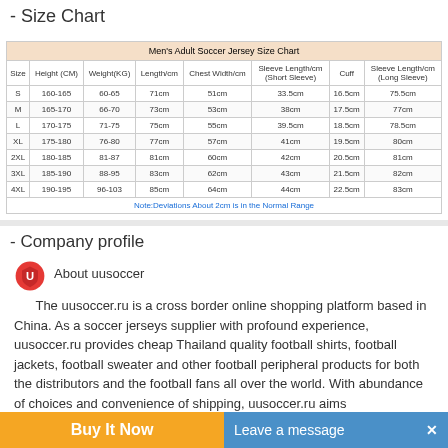- Size Chart
| Size | Height (CM) | Weight(KG) | Length/cm | Chest Width/cm | Sleeve Length/cm (Short Sleeve) | Cuff | Sleeve Length/cm (Long Sleeve) |
| --- | --- | --- | --- | --- | --- | --- | --- |
| S | 160-165 | 60-65 | 71cm | 51cm | 33.5cm | 16.5cm | 75.5cm |
| M | 165-170 | 66-70 | 73cm | 53cm | 38cm | 17.5cm | 77cm |
| L | 170-175 | 71-75 | 75cm | 55cm | 39.5cm | 18.5cm | 78.5cm |
| XL | 175-180 | 76-80 | 77cm | 57cm | 41cm | 19.5cm | 80cm |
| 2XL | 180-185 | 81-87 | 81cm | 60cm | 42cm | 20.5cm | 81cm |
| 3XL | 185-190 | 88-95 | 83cm | 62cm | 43cm | 21.5cm | 82cm |
| 4XL | 190-195 | 96-103 | 85cm | 64cm | 44cm | 22.5cm | 83cm |
| Note:Deviations About 2cm is in the Normal Range |
- Company profile
About uusoccer
The uusoccer.ru is a cross border online shopping platform based in China. As a soccer jerseys supplier with profound experience, uusoccer.ru provides cheap Thailand quality football shirts, football jackets, football sweater and other football peripheral products for both the distributors and the football fans all over the world. With abundance of choices and convenience of shipping, uusoccer.ru aims